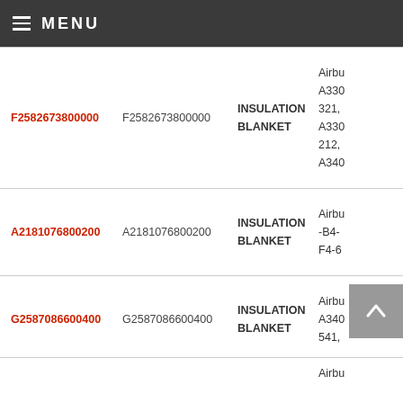MENU
| Part Number (Red) | Part Number | Description | Aircraft Models |
| --- | --- | --- | --- |
| F2582673800000 | F2582673800000 | INSULATION BLANKET | Airbu A330 321, A330 212, A340 |
| A2181076800200 | A2181076800200 | INSULATION BLANKET | Airbu -B4- F4-6 |
| G2587086600400 | G2587086600400 | INSULATION BLANKET | Airbu A340 541, |
| (partial) | (partial) |  | Airbu |